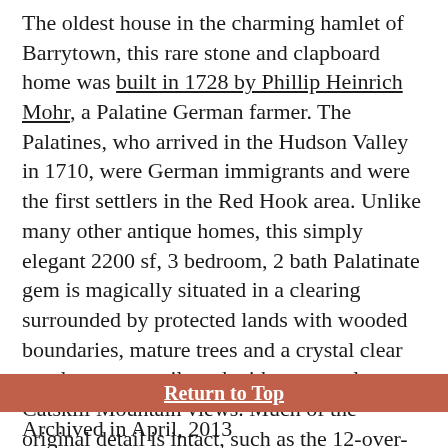The oldest house in the charming hamlet of Barrytown, this rare stone and clapboard home was built in 1728 by Phillip Heinrich Mohr, a Palatine German farmer. The Palatines, who arrived in the Hudson Valley in 1710, were German immigrants and were the first settlers in the Red Hook area. Unlike many other antique homes, this simply elegant 2200 sf, 3 bedroom, 2 bath Palatinate gem is magically situated in a clearing surrounded by protected lands with wooded boundaries, mature trees and a crystal clear pond on a tranquil road with spectacular Catskill Mountain views. Much of the original detail is intact, such as the 12-over-12 divided light windows, the wideboard floors, exposed beams, 2 wood panelled fireplaces, Dutch doors and the original stone smokehouse.
Return to Top
Archived in April, 2013